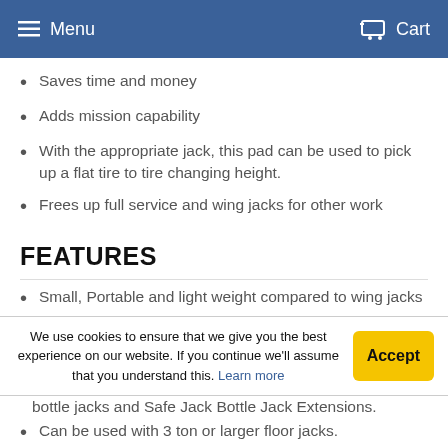Menu  Cart
Saves time and money
Adds mission capability
With the appropriate jack, this pad can be used to pick up a flat tire to tire changing height.
Frees up full service and wing jacks for other work
FEATURES
Small, Portable and light weight compared to wing jacks
We use cookies to ensure that we give you the best experience on our website. If you continue we'll assume that you understand this. Learn more
bottle jacks and Safe Jack Bottle Jack Extensions.
Can be used with 3 ton or larger floor jacks.